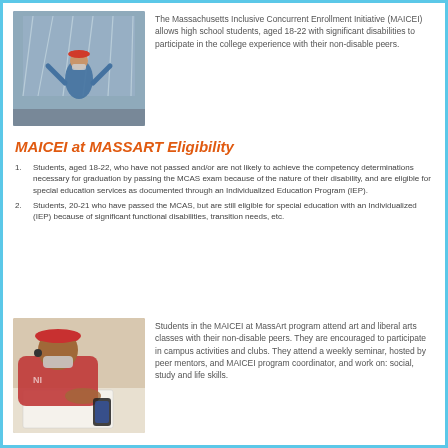[Figure (photo): Person wearing a mask and red hat standing in front of a modern building with glass and architectural details, arms raised]
The Massachusetts Inclusive Concurrent Enrollment Initiative (MAICEI) allows high school students, aged 18-22 with significant disabilities to participate in the college experience with their non-disable peers.
MAICEI at MASSART Eligibility
Students, aged 18-22, who have not passed and/or are not likely to achieve the competency determinations necessary for graduation by passing the MCAS exam because of the nature of their disability, and are eligible for special education services as documented through an Individualized Education Program (IEP).
Students, 20-21 who have passed the MCAS, but are still eligible for special education with an Individualized (IEP) because of significant functional disabilities, transition needs, etc.
[Figure (photo): Student wearing a mask and red hat sitting at a desk writing or working on paper]
Students in the MAICEI at MassArt program attend art and liberal arts classes with their non-disable peers. They are encouraged to participate in campus activities and clubs. They attend a weekly seminar, hosted by peer mentors, and MAICEI program coordinator, and work on: social, study and life skills.